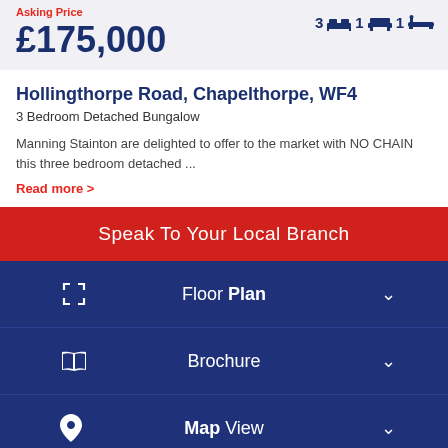Asking Price
£175,000
3 bed 1 reception 1 bathroom
Hollingthorpe Road, Chapelthorpe, WF4
3 Bedroom Detached Bungalow
Manning Stainton are delighted to offer to the market with NO CHAIN this three bedroom detached ...
Read more >
Speak To Your Local Branch
Floor Plan
Brochure
Map View